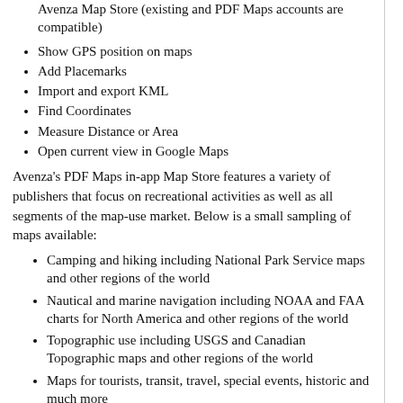Avenza Map Store (existing and PDF Maps accounts are compatible)
Show GPS position on maps
Add Placemarks
Import and export KML
Find Coordinates
Measure Distance or Area
Open current view in Google Maps
Avenza's PDF Maps in-app Map Store features a variety of publishers that focus on recreational activities as well as all segments of the map-use market. Below is a small sampling of maps available:
Camping and hiking including National Park Service maps and other regions of the world
Nautical and marine navigation including NOAA and FAA charts for North America and other regions of the world
Topographic use including USGS and Canadian Topographic maps and other regions of the world
Maps for tourists, transit, travel, special events, historic and much more
PDF Maps is available now in the Google Play Store free of charge. For more information about PDF Maps, visit the Avenza website at www.avenza.com/pdf-maps. Pricing of each map is set by the publisher and free maps remain free to users through the PDF Maps app in-app store.